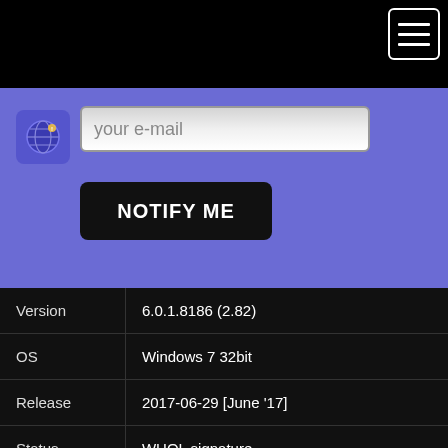[Figure (screenshot): Website screenshot showing a driver download page with hamburger menu icon in top right corner, a blue notification bar with globe icon, email input field saying 'your e-mail', a NOTIFY ME button, a dark info table with Version, OS, Release, Status, File, Downloaded fields, and a bottom section with multilingual title and More info link.]
|  |  |
| --- | --- |
| Version | 6.0.1.8186 (2.82) |
| OS | Windows 7 32bit |
| Release | 2017-06-29 [June '17] |
| Status | WHQL signature |
| File | win7_win8_win81_win10_r282.exe |
| Downloaded | 1899969× |
Drivers for / Treiber für / Драйверы для / Ovladače pro / Sterowniki do
More info